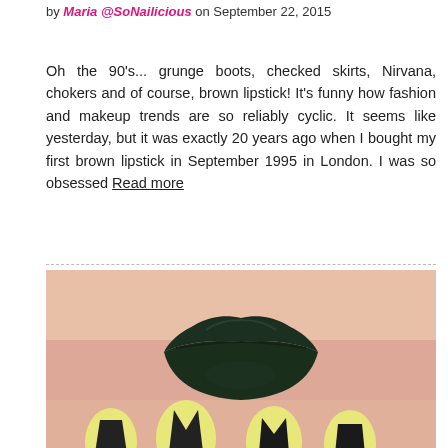by Maria @SoNailicious on September 22, 2015
Oh the 90's... grunge boots, checked skirts, Nirvana, chokers and of course, brown lipstick! It's funny how fashion and makeup trends are so reliably cyclic. It seems like yesterday, but it was exactly 20 years ago when I bought my first brown lipstick in September 1995 in London. I was so obsessed Read more
[Figure (photo): Close-up photo of a person wearing dark black/dark green lipstick with yellow nail art featuring black geometric patterns and a small diamond/crystal accent, against a peachy skin background.]